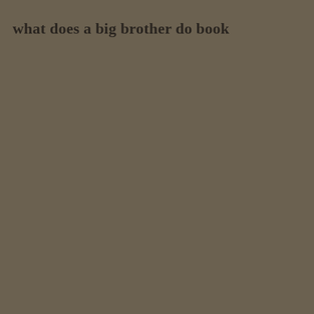what does a big brother do book